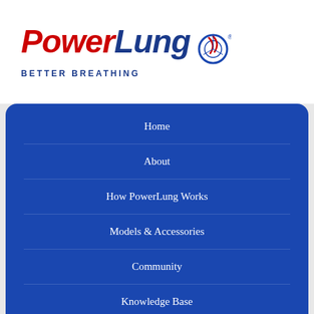[Figure (logo): PowerLung logo with red italic 'Power' and blue italic 'Lung' text with cycling wheel icon, and 'BETTER BREATHING' tagline below]
Home
About
How PowerLung Works
Models & Accessories
Community
Knowledge Base